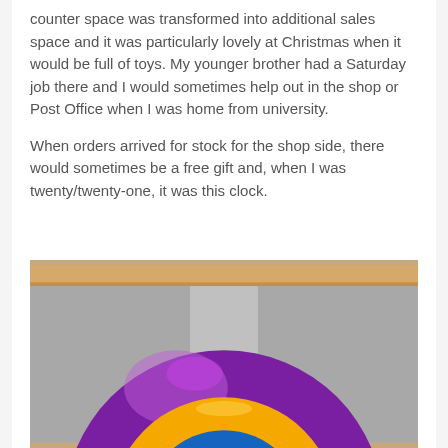counter space was transformed into additional sales space and it was particularly lovely at Christmas when it would be full of toys. My younger brother had a Saturday job there and I would sometimes help out in the shop or Post Office when I was home from university.
When orders arrived for stock for the shop side, there would sometimes be a free gift and, when I was twenty/twenty-one, it was this clock.
[Figure (photo): A close-up photo of a colourful spherical clock with a purple outer shell and a yellow/orange inner ring, sitting on a surface with a wooden rail visible in the background and grey/silver panels behind it.]